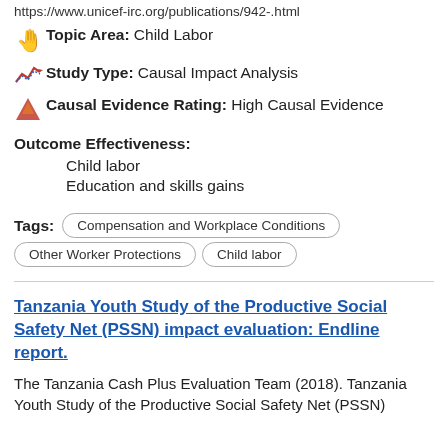https://www.unicef-irc.org/publications/942-.html
Topic Area: Child Labor
Study Type: Causal Impact Analysis
Causal Evidence Rating: High Causal Evidence
Outcome Effectiveness:
Child labor
Education and skills gains
Tags: Compensation and Workplace Conditions | Other Worker Protections | Child labor
Tanzania Youth Study of the Productive Social Safety Net (PSSN) impact evaluation: Endline report.
The Tanzania Cash Plus Evaluation Team (2018). Tanzania Youth Study of the Productive Social Safety Net (PSSN)